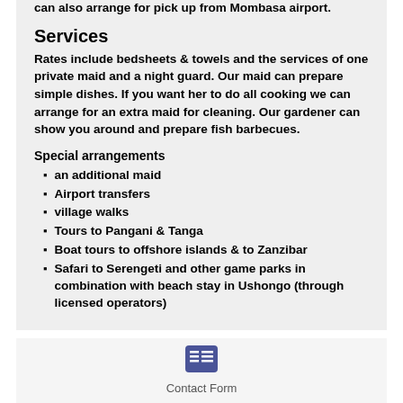can also arrange for pick up from Mombasa airport.
Services
Rates include bedsheets & towels and the services of one private maid and a night guard. Our maid can prepare simple dishes. If you want her to do all cooking we can arrange for an extra maid for cleaning. Our gardener can show you around and prepare fish barbecues.
Special arrangements
an additional maid
Airport transfers
village walks
Tours to Pangani & Tanga
Boat tours to offshore islands & to Zanzibar
Safari to Serengeti and other game parks in combination with beach stay in Ushongo (through licensed operators)
[Figure (other): Contact Form icon — a small grid/list icon in dark blue/purple]
Contact Form